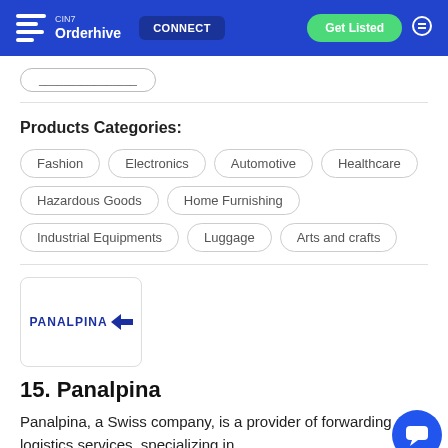CIN7 Orderhive | CONNECT | Get Listed
Products Categories:
Fashion
Electronics
Automotive
Healthcare
Hazardous Goods
Home Furnishing
Industrial Equipments
Luggage
Arts and crafts
[Figure (logo): Panalpina logo with arrow icon in dark blue]
15. Panalpina
Panalpina, a Swiss company, is a provider of forwarding and logistics services, specializing in